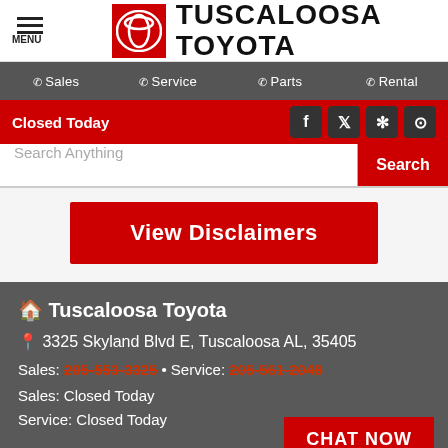Tuscaloosa Toyota
Sales  Service  Parts  Rental
Closed Today
Search Anything
View Disclaimers
🏠 Tuscaloosa Toyota
📍 3325 Skyland Blvd E, Tuscaloosa AL, 35405
Sales: 205-553-3325 • Service: 205-561-2048
Sales: Closed Today
Service: Closed Today
CHAT NOW